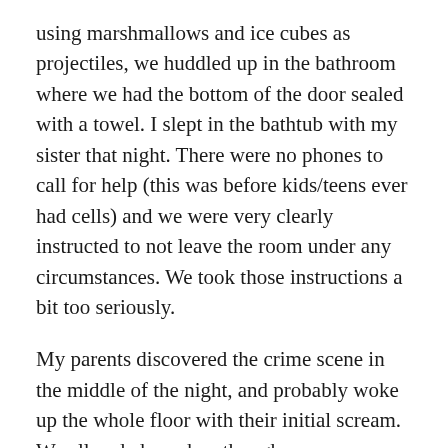using marshmallows and ice cubes as projectiles, we huddled up in the bathroom where we had the bottom of the door sealed with a towel. I slept in the bathtub with my sister that night. There were no phones to call for help (this was before kids/teens ever had cells) and we were very clearly instructed to not leave the room under any circumstances. We took those instructions a bit too seriously.
My parents discovered the crime scene in the middle of the night, and probably woke up the whole floor with their initial scream. We all ended up okay though.
TLDR: As kids alone in a hotel room, we got swarmed by a metric f**kton of spiders. Failed to defend ourselves. Huttled up in the bathroom where